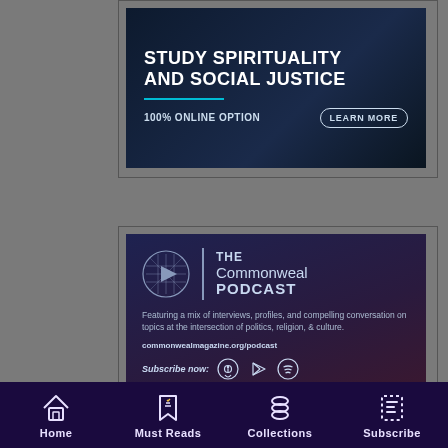[Figure (illustration): Advertisement banner: 'STUDY SPIRITUALITY AND SOCIAL JUSTICE — 100% ONLINE OPTION — LEARN MORE' on dark navy background with teal underline accent]
[Figure (illustration): The Commonweal Podcast advertisement on dark purple/navy gradient background. Features podcast logo (play button in decorative circle), text 'THE Commonweal PODCAST', description 'Featuring a mix of interviews, profiles, and compelling conversation on topics at the intersection of politics, religion, & culture.', URL 'commonwealmagazine.org/podcast', and 'Subscribe now:' with Apple Podcasts, Google Play, and Spotify icons.]
Home  Must Reads  Collections  Subscribe